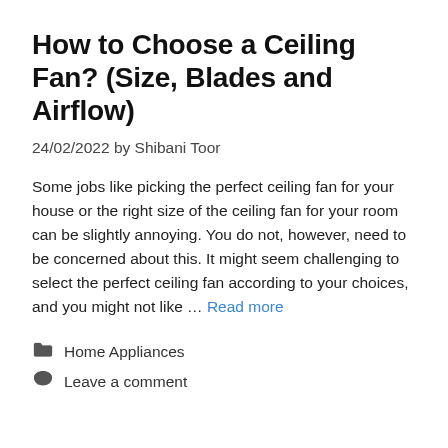How to Choose a Ceiling Fan? (Size, Blades and Airflow)
24/02/2022 by Shibani Toor
Some jobs like picking the perfect ceiling fan for your house or the right size of the ceiling fan for your room can be slightly annoying. You do not, however, need to be concerned about this. It might seem challenging to select the perfect ceiling fan according to your choices, and you might not like … Read more
Home Appliances
Leave a comment